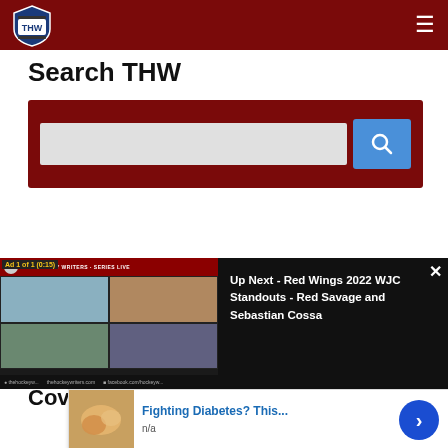THW - The Hockey Writers
Search THW
[Figure (screenshot): Search bar with text input field and blue search button on dark red background]
[Figure (screenshot): Video overlay panel showing 'Ad 1 of 1 (0:15)' label, four participants in video call grid, red top bar with The Hockey Writers branding, and 'Up Next - Red Wings 2022 WJC Standouts - Red Savage and Sebastian Cossa' panel on black background with X close button]
Coverage
[Figure (screenshot): Advertisement banner: Fighting Diabetes? This... with food image on left and blue arrow button on right, subtitle n/a]